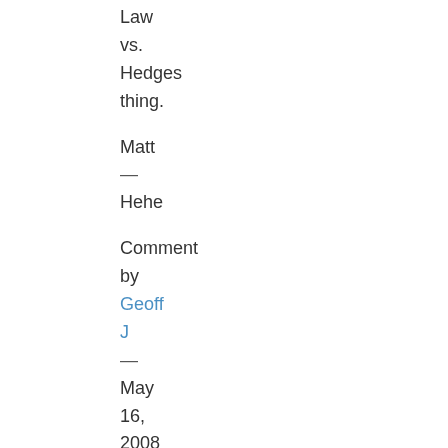Law vs. Hedges thing.
Matt
—
Hehe
Comment by Geoff J
—
May 16, 2008 @ 8:22 am
.......
4. I'm impressed too. I went with